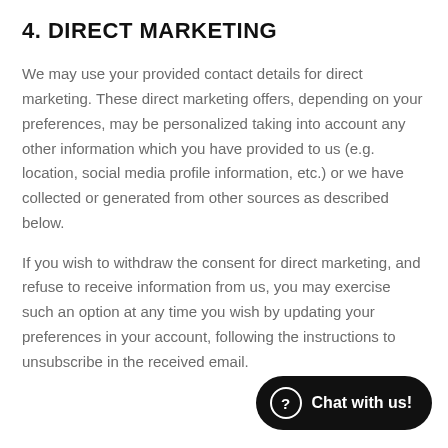4. DIRECT MARKETING
We may use your provided contact details for direct marketing. These direct marketing offers, depending on your preferences, may be personalized taking into account any other information which you have provided to us (e.g. location, social media profile information, etc.) or we have collected or generated from other sources as described below.
If you wish to withdraw the consent for direct marketing, and refuse to receive information from us, you may exercise such an option at any time you wish by updating your preferences in your account, following the instructions to unsubscribe in the received email.